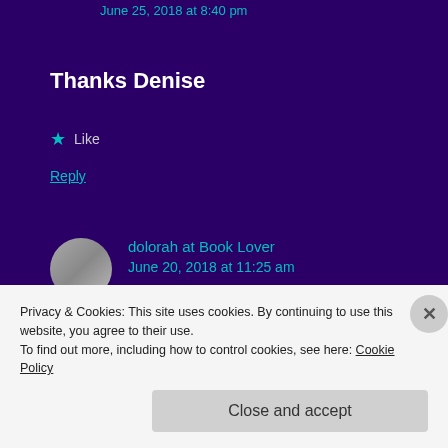June 25, 2018 at 8:40 pm
Thanks Denise
★ Like
Reply
dolorah at Book Lover
June 20, 2018 at 11:25 am
I'm always looking for buried treasure in my
Privacy & Cookies: This site uses cookies. By continuing to use this website, you agree to their use.
To find out more, including how to control cookies, see here: Cookie Policy
Close and accept